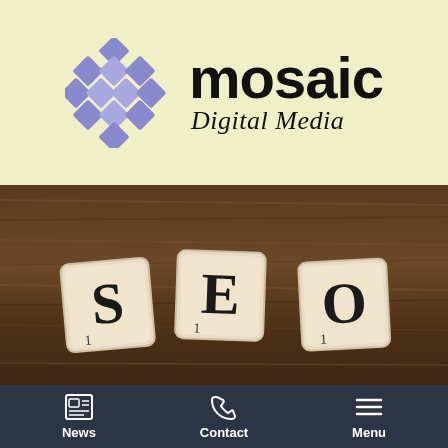[Figure (logo): Mosaic Digital Media logo with purple diamond mosaic grid icon on the left and bold 'mosaic' text with italic 'Digital Media' subtitle on cream/yellow background]
[Figure (photo): Photo of three Scrabble tiles spelling 'SEO' arranged on a wooden surface]
News   Contact   Menu